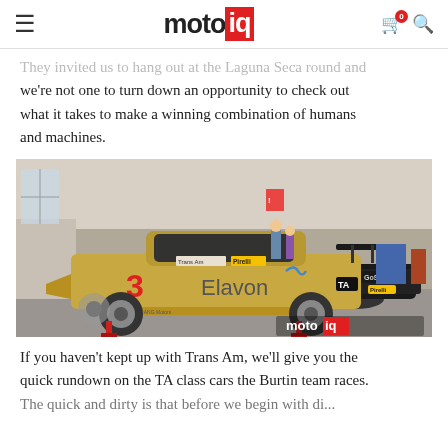motoiq
They invited us to hang out at the Laguna Seca round and we're not one to turn down an opportunity to check out what it takes to make a winning combination of humans and machines.
[Figure (photo): Gold #3 Elavon Trans Am race car (TA class) being worked on in a garage/paddock area at a race track. The car has Pirelli tires and Trans Am branding. Multiple mechanics visible in background. motoiq watermark in lower right.]
If you haven't kept up with Trans Am, we'll give you the quick rundown on the TA class cars the Burtin team races. The quick and dirty is that before we begin with diagrams...